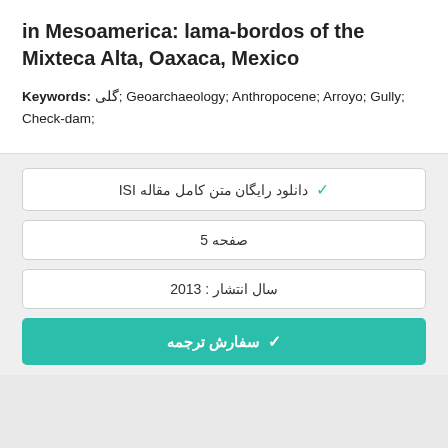in Mesoamerica: lama-bordos of the Mixteca Alta, Oaxaca, Mexico
Keywords: گلی; Geoarchaeology; Anthropocene; Arroyo; Gully; Check-dam;
✓ دانلود رایگان متن کامل مقاله ISI
5 صفحه
سال انتشار : 2013
✓ سفارش ترجمه